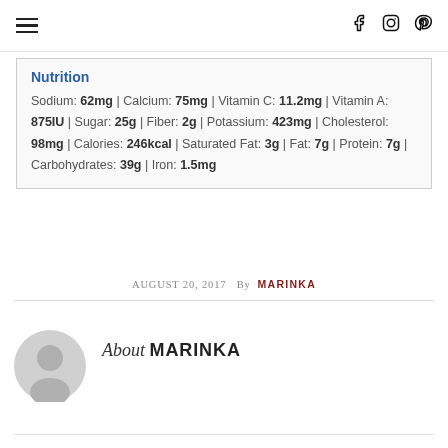Navigation menu and social icons (Facebook, Instagram, Pinterest)
Nutrition
Sodium: 62mg | Calcium: 75mg | Vitamin C: 11.2mg | Vitamin A: 875IU | Sugar: 25g | Fiber: 2g | Potassium: 423mg | Cholesterol: 98mg | Calories: 246kcal | Saturated Fat: 3g | Fat: 7g | Protein: 7g | Carbohydrates: 39g | Iron: 1.5mg
AUGUST 20, 2017  By  MARINKA
[Figure (illustration): Gray circular avatar/profile placeholder icon]
About MARINKA